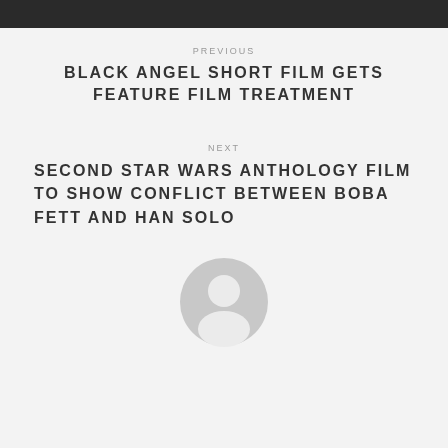PREVIOUS
BLACK ANGEL SHORT FILM GETS FEATURE FILM TREATMENT
NEXT
SECOND STAR WARS ANTHOLOGY FILM TO SHOW CONFLICT BETWEEN BOBA FETT AND HAN SOLO
[Figure (illustration): Generic user avatar icon — a circle with a stylized person silhouette in light grey]